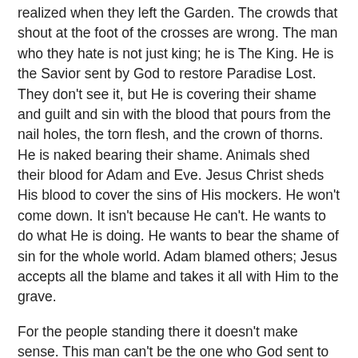realized when they left the Garden. The crowds that shout at the foot of the crosses are wrong. The man who they hate is not just king; he is The King. He is the Savior sent by God to restore Paradise Lost. They don't see it, but He is covering their shame and guilt and sin with the blood that pours from the nail holes, the torn flesh, and the crown of thorns. He is naked bearing their shame. Animals shed their blood for Adam and Eve. Jesus Christ sheds His blood to cover the sins of His mockers. He won't come down. It isn't because He can't. He wants to do what He is doing. He wants to bear the shame of sin for the whole world. Adam blamed others; Jesus accepts all the blame and takes it all with Him to the grave.
For the people standing there it doesn't make sense. This man can't be the one who God sent to be Savior. He isn't anything special; he isn't glorious; he wasn't born in a palace. It's upside down from their thinking. Jesus is the Savior, he is the King, but they can't see it.
But someone there does. The man hanging in silence on the other cross is keenly aware of what is going on. The nails